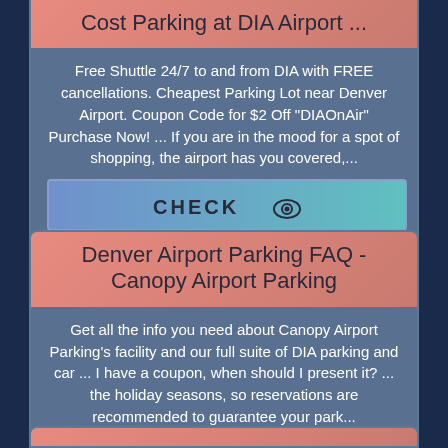Cost Parking at DIA Airport ...
Free Shuttle 24/7 to and from DIA with FREE cancellations. Cheapest Parking Lot near Denver Airport. Coupon Code for $2 Off "DIAOnAir" Purchase Now! ... If you are in the mood for a spot of shopping, the airport has you covered,...
CHECK
Denver Airport Parking FAQ - Canopy Airport Parking
Get all the info you need about Canopy Airport Parking's facility and our full suite of DIA parking and car ... I have a coupon, when should I present it? ... the holiday seasons, so reservations are recommended to guarantee your park...
CHECK